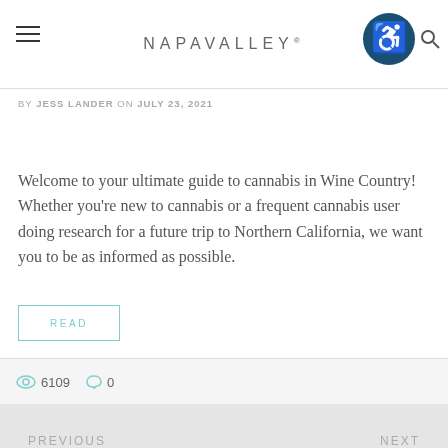NAPAVALLEY®
by JESS LANDER on JULY 23, 2021
Welcome to your ultimate guide to cannabis in Wine Country! Whether you're new to cannabis or a frequent cannabis user doing research for a future trip to Northern California, we want you to be as informed as possible.
READ
6109   0
PREVIOUS
NEXT